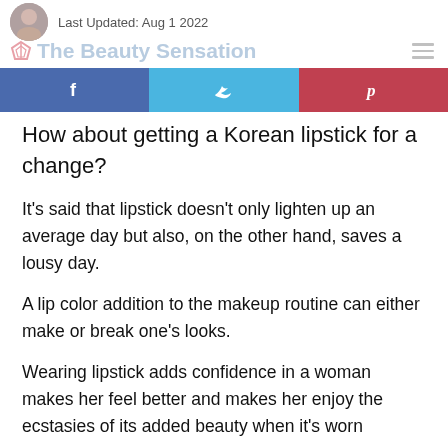Last Updated: Aug 1 2022
The Beauty Sensation
[Figure (infographic): Social sharing buttons: Facebook (blue), Twitter (light blue), Pinterest (red)]
How about getting a Korean lipstick for a change?
It’s said that lipstick doesn’t only lighten up an average day but also, on the other hand, saves a lousy day.
A lip color addition to the makeup routine can either make or break one’s looks.
Wearing lipstick adds confidence in a woman makes her feel better and makes her enjoy the ecstasies of its added beauty when it’s worn